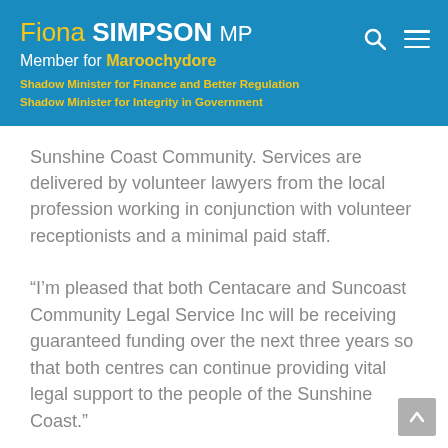Fiona SIMPSON MP
Member for Maroochydore
Shadow Minister for Finance and Better Regulation
Shadow Minister for Integrity in Government
Sunshine Coast Community. Services are delivered by volunteer lawyers from the local profession working in conjunction with volunteer receptionists and a minimal paid staff.
“I’m pleased that both Centacare and Suncoast Community Legal Service Inc will be receiving guaranteed funding over the next three years so that both centres can continue providing vital legal support to the people of the Sunshine Coast.”